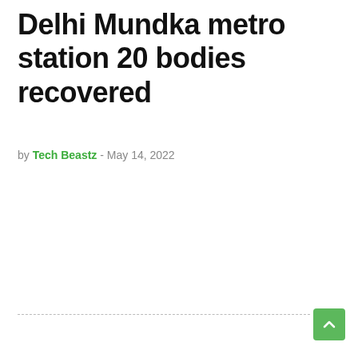Delhi Mundka metro station 20 bodies recovered
by Tech Beastz - May 14, 2022